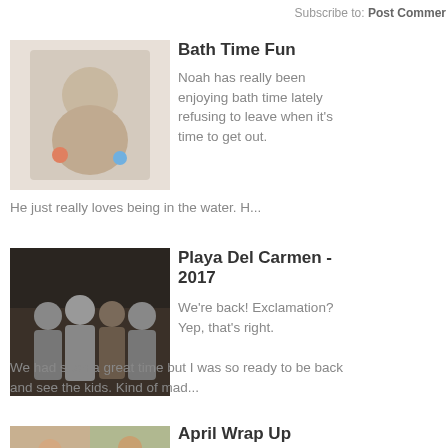Subscribe to: Post Comments
[Figure (photo): Baby sitting in bathtub with toys]
Bath Time Fun
Noah has really been enjoying bath time lately refusing to leave when it's time to get out. He just really loves being in the water.  H...
[Figure (photo): Family group photo in a restaurant]
Playa Del Carmen - 2017
We're back! Exclamation? Yep, that's right. We had such a great time but I was so ready to be back and see the kids.  Kind of mad...
[Figure (photo): Two photos of women posing]
April Wrap Up
We're finally approaching 33